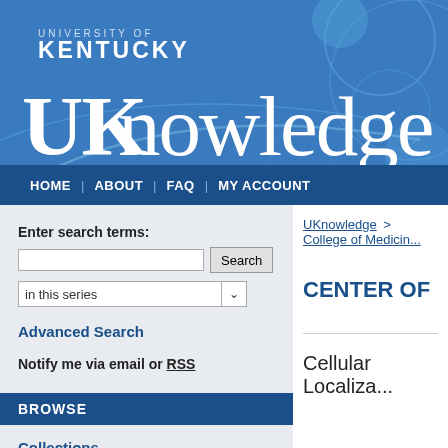[Figure (screenshot): University of Kentucky UKnowledge repository website header banner with blue background and decorative arc graphics, showing the UK logo and UKnowledge wordmark]
HOME | ABOUT | FAQ | MY ACCOUNT
Enter search terms:
in this series
Advanced Search
Notify me via email or RSS
BROWSE
Collections
UKnowledge > College of Medicin...
CENTER OF
Cellular Localiza...